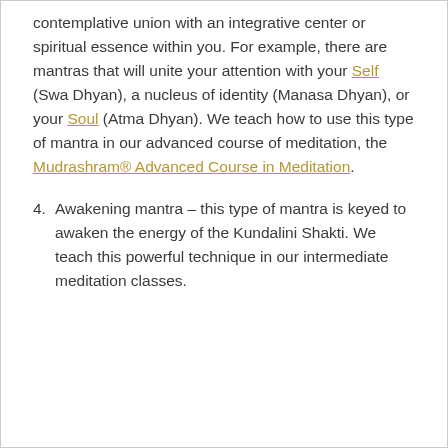contemplative union with an integrative center or spiritual essence within you. For example, there are mantras that will unite your attention with your Self (Swa Dhyan), a nucleus of identity (Manasa Dhyan), or your Soul (Atma Dhyan). We teach how to use this type of mantra in our advanced course of meditation, the Mudrashram® Advanced Course in Meditation.
4. Awakening mantra – this type of mantra is keyed to awaken the energy of the Kundalini Shakti. We teach this powerful technique in our intermediate meditation classes.